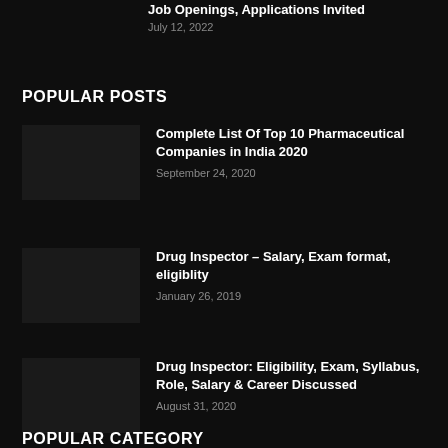Job Openings, Applications Invited
July 12, 2022
POPULAR POSTS
Complete List Of Top 10 Pharmaceutical Companies in India 2020
September 24, 2020
Drug Inspector – Salary, Exam format, eligiblity
January 26, 2019
Drug Inspector: Eligibility, Exam, Syllabus, Role, Salary & Career Discussed
August 31, 2020
POPULAR CATEGORY